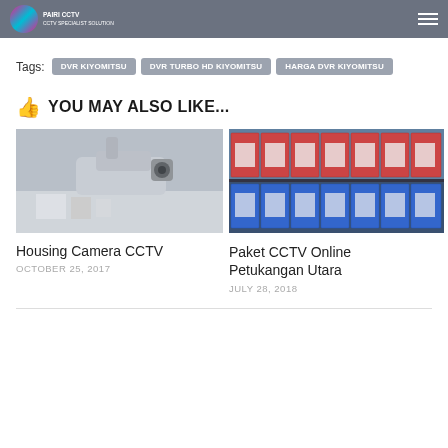PAIRI CCTV
Tags:  DVR KIYOMITSU  DVR TURBO HD KIYOMITSU  HARGA DVR KIYOMITSU
YOU MAY ALSO LIKE...
[Figure (photo): Housing Camera CCTV - a CCTV camera mounted on a surface]
Housing Camera CCTV
OCTOBER 25, 2017
[Figure (photo): Paket CCTV Online Petukangan Utara - shelves stocked with CCTV product boxes]
Paket CCTV Online Petukangan Utara
JULY 28, 2018